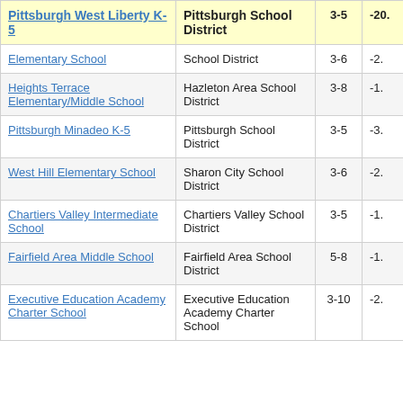| School | District | Grades | Value |
| --- | --- | --- | --- |
| Pittsburgh West Liberty K-5 | Pittsburgh School District | 3-5 | -20. |
| Elementary School | School District | 3-6 | -2. |
| Heights Terrace Elementary/Middle School | Hazleton Area School District | 3-8 | -1. |
| Pittsburgh Minadeo K-5 | Pittsburgh School District | 3-5 | -3. |
| West Hill Elementary School | Sharon City School District | 3-6 | -2. |
| Chartiers Valley Intermediate School | Chartiers Valley School District | 3-5 | -1. |
| Fairfield Area Middle School | Fairfield Area School District | 5-8 | -1. |
| Executive Education Academy Charter School | Executive Education Academy Charter School | 3-10 | -2. |